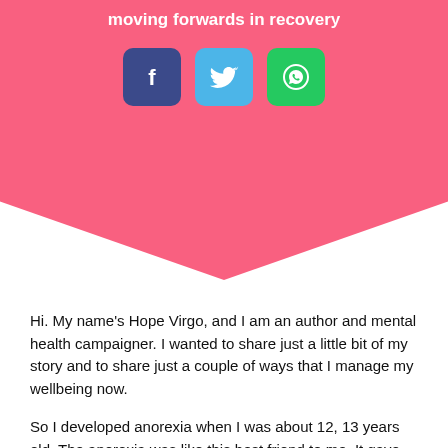moving forwards in recovery
[Figure (illustration): Three social media share buttons: Facebook (dark blue), Twitter (light blue), WhatsApp (green)]
Hi. My name's Hope Virgo, and I am an author and mental health campaigner. I wanted to share just a little bit of my story and to share just a couple of ways that I manage my wellbeing now.
So I developed anorexia when I was about 12, 13 years old. The anorexia was like this best friend to me. It gave me this real value and sense of purpose every single day. It controlled me from the moment I got up in the morning to the moment I went to bed in the evening. And every time I did what it wanted me to do, I just felt absolutely amazing about life. Amazing about every single thing going on